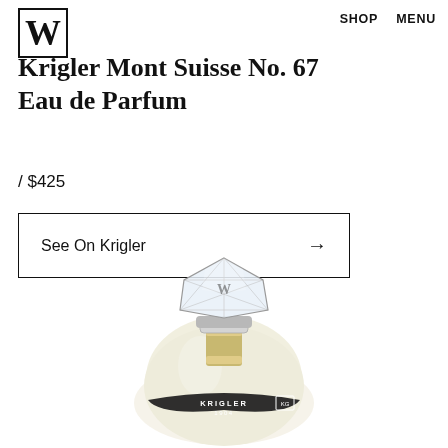SHOP   MENU
Krigler Mont Suisse No. 67 Eau de Parfum
/ $425
See On Krigler →
[Figure (photo): Krigler Mont Suisse No. 67 perfume bottle with crystal faceted cap, gold and silver collar, round glass body with black ribbon label reading KRIGLER 1904]